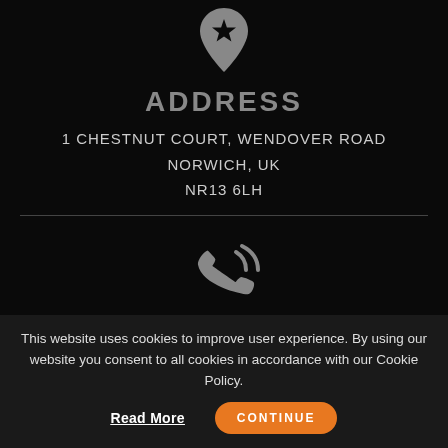[Figure (illustration): Grey map pin / location icon with a star inside, centered at top]
ADDRESS
1 CHESTNUT COURT, WENDOVER ROAD
NORWICH, UK
NR13 6LH
[Figure (illustration): Grey phone icon with signal/ringing waves]
PHONE
This website uses cookies to improve user experience. By using our website you consent to all cookies in accordance with our Cookie Policy.
Read More
CONTINUE